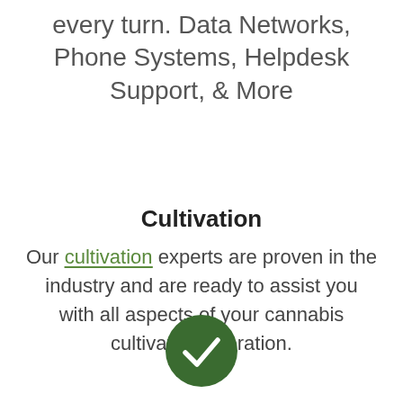every turn. Data Networks, Phone Systems, Helpdesk Support, & More
Cultivation
Our cultivation experts are proven in the industry and are ready to assist you with all aspects of your cannabis cultivation operation.
[Figure (illustration): Dark green circle with a white checkmark icon inside]